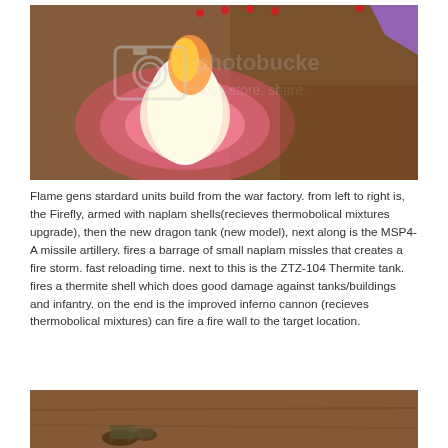[Figure (photo): Screenshot from a video game showing a glowing explosion or fire effect on a brownish dirt terrain. A white and pink circular glow effect is visible, with flames. Photobucket watermark overlay reads 'photobucket host. store. share.' A purple shape is visible in the upper right corner.]
Flame gens stardard units build from the war factory. from left to right is, the Firefly, armed with naplam shells(recieves thermobolical mixtures upgrade), then the new dragon tank (new model), next along is the MSP4-A missile artillery. fires a barrage of small naplam missles that creates a fire storm. fast reloading time. next to this is the ZTZ-104 Thermite tank. fires a thermite shell which does good damage against tanks/buildings and infantry. on the end is the improved inferno cannon (recieves thermobolical mixtures) can fire a fire wall to the target location.
[Figure (photo): Partial screenshot from a video game showing brownish dirt terrain with some small units or objects visible at the bottom.]